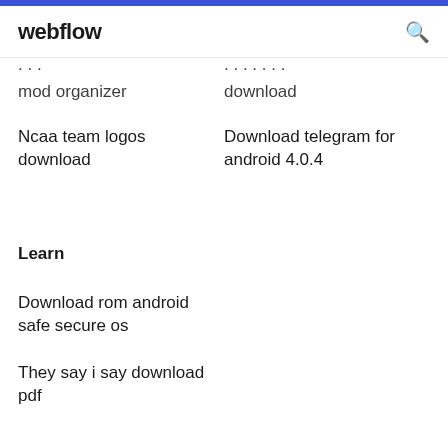webflow
mod organizer
download
Ncaa team logos download
Download telegram for android 4.0.4
Learn
Download rom android safe secure os
They say i say download pdf